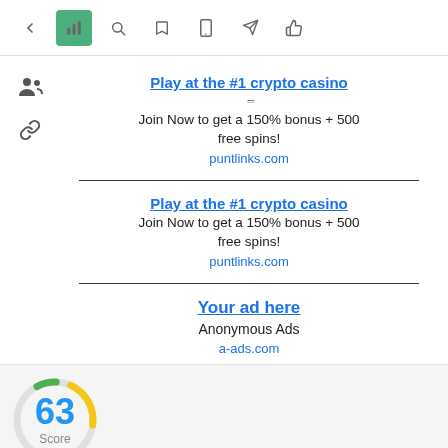[Figure (screenshot): Mobile app toolbar with icons: back arrow, active green bar-chart icon, search, bookmark, phone, send, thumbs-up]
[Figure (screenshot): Side icons: group/people icon and chain/link icon]
Play at the #1 crypto casino
Join Now to get a 150% bonus + 500 free spins!
puntlinks.com
Play at the #1 crypto casino
Join Now to get a 150% bonus + 500 free spins!
puntlinks.com
Your ad here
Anonymous Ads
a-ads.com
[Figure (infographic): Score gauge circle showing 63 Score. Large circle partially filled with green at top-left and golden-yellow at bottom-right, gray elsewhere. Blue number 63 in center with 'Score' label below.]